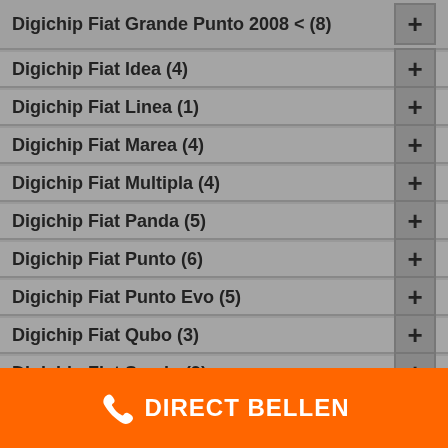Digichip Fiat Grande Punto 2008 < (8)
Digichip Fiat Idea (4)
Digichip Fiat Linea (1)
Digichip Fiat Marea (4)
Digichip Fiat Multipla (4)
Digichip Fiat Panda (5)
Digichip Fiat Punto (6)
Digichip Fiat Punto Evo (5)
Digichip Fiat Qubo (3)
Digichip Fiat Scudo (9)
Digichip Fiat Sedici (3)
DIRECT BELLEN